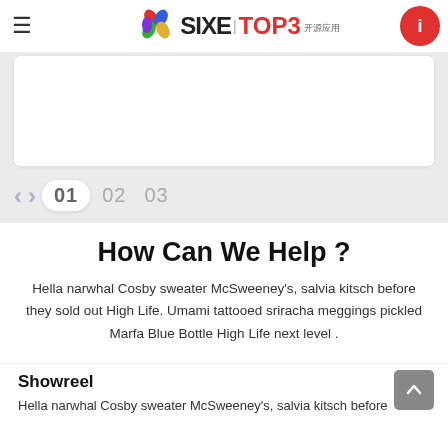SIXE | TOP3 开源应用
[Figure (screenshot): Slider/carousel area with white card on gray background]
01  02  03
How Can We Help ?
Hella narwhal Cosby sweater McSweeney's, salvia kitsch before they sold out High Life. Umami tattooed sriracha meggings pickled Marfa Blue Bottle High Life next level .
Showreel
Hella narwhal Cosby sweater McSweeney's, salvia kitsch before